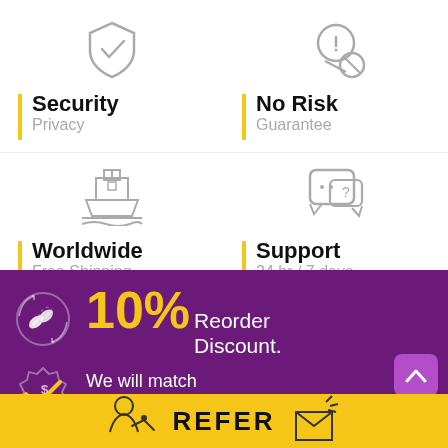[Figure (illustration): Shield with checkmark icon (security)]
[Figure (illustration): Warning/no icon (no risk guarantee)]
Security
Privacy
No Risk
Guarantee
[Figure (illustration): Ship/cruise icon (worldwide shipping)]
[Figure (illustration): Chat bubble with question mark (support)]
Worldwide
Free Shipping
Support
24 hr / 7 days
[Figure (infographic): Purple banner: 10% Reorder Discount with pills icon]
[Figure (infographic): Purple banner: We will match any price Best Price. with price badge and checkmark icon]
REFER